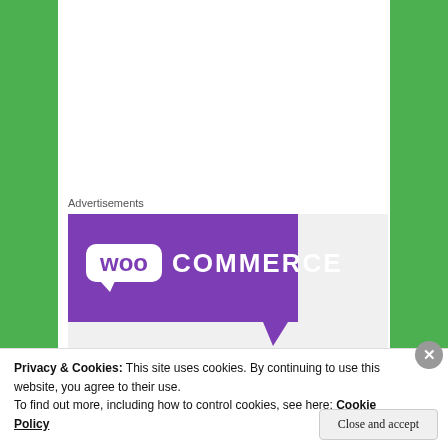Advertisements
[Figure (logo): WooCommerce logo on purple background]
[Figure (photo): Photo of a ruler measuring something with graph lines, showing View-Thru and Basic labels]
Privacy & Cookies: This site uses cookies. By continuing to use this website, you agree to their use.
To find out more, including how to control cookies, see here: Cookie Policy
Close and accept